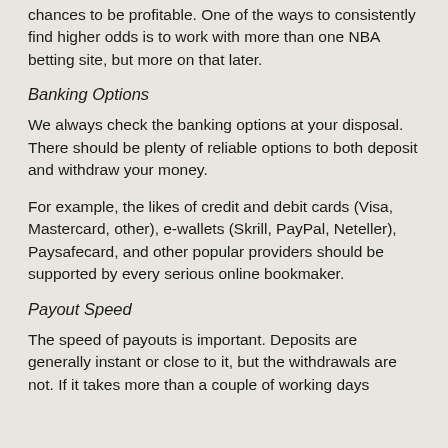chances to be profitable. One of the ways to consistently find higher odds is to work with more than one NBA betting site, but more on that later.
Banking Options
We always check the banking options at your disposal. There should be plenty of reliable options to both deposit and withdraw your money.
For example, the likes of credit and debit cards (Visa, Mastercard, other), e-wallets (Skrill, PayPal, Neteller), Paysafecard, and other popular providers should be supported by every serious online bookmaker.
Payout Speed
The speed of payouts is important. Deposits are generally instant or close to it, but the withdrawals are not. If it takes more than a couple of working days